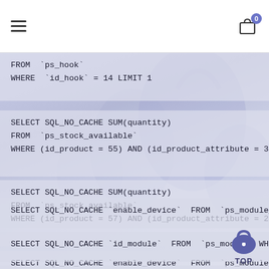≡  [cart icon with badge 0]
FROM `ps_hook`
WHERE `id_hook` = 14 LIMIT 1
SELECT SQL_NO_CACHE SUM(quantity)
FROM `ps_stock_available`
WHERE (id_product = 55) AND (id_product_attribute = 3)
SELECT SQL_NO_CACHE SUM(quantity)
FROM `ps_stock_available`
WHERE (id_product = 57) AND (id_product_attribute = 21
SELECT SQL_NO_CACHE `enable_device` FROM `ps_module_sh
SELECT SQL_NO_CACHE `id_module` FROM `ps_module` WHERE
SELECT SQL_NO_CACHE `id_tax_rules_group`
FROM `ps_product_shop`